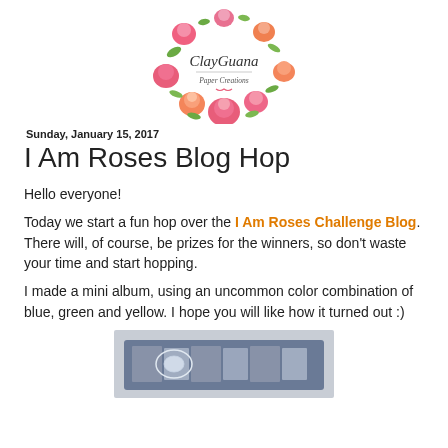[Figure (logo): ClayGuana Paper Creations logo — circular wreath of watercolor pink and orange roses with the handwritten text 'ClayGuana Paper Creations' in the center]
Sunday, January 15, 2017
I Am Roses Blog Hop
Hello everyone!
Today we start a fun hop over the I Am Roses Challenge Blog. There will, of course, be prizes for the winners, so don't waste your time and start hopping.
I made a mini album, using an uncommon color combination of blue, green and yellow. I hope you will like how it turned out :)
[Figure (photo): A mini album made with blue, green and yellow color combination, showing a decorative handmade book with lace and floral elements on a wooden surface]